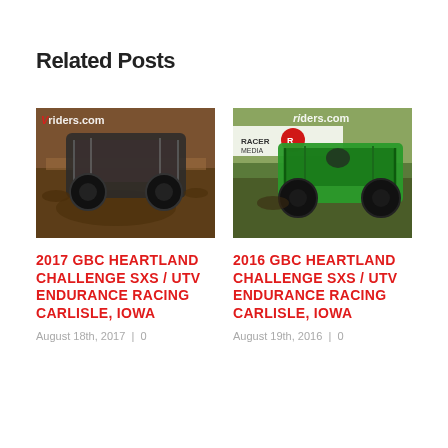Related Posts
[Figure (photo): UTV/SXS off-road racing vehicle kicking up mud, with Vriders.com watermark]
2017 GBC HEARTLAND CHALLENGE SXS / UTV ENDURANCE RACING CARLISLE, IOWA
August 18th, 2017  |  0
[Figure (photo): Green UTV/SXS racing vehicle at GBC Heartland Challenge event, with riders.com watermark]
2016 GBC HEARTLAND CHALLENGE SXS / UTV ENDURANCE RACING CARLISLE, IOWA
August 19th, 2016  |  0